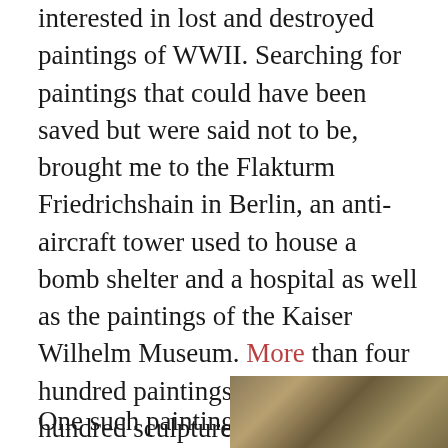I began Painting of Sorrow because I was interested in lost and destroyed paintings of WWII. Searching for paintings that could have been saved but were said not to be, brought me to the Flakturm Friedrichshain in Berlin, an anti-aircraft tower used to house a bomb shelter and a hospital as well as the paintings of the Kaiser Wilhelm Museum. More than four hundred paintings and three hundred sculptures were burned, stolen, or destroyed by bombs in the waning days of WWII. Did the Soviets loot the building before it burned? Or were some of the paintings stolen when the Soviet guards were inexplicably removed?
One such painting
[Figure (photo): A partial view of a painting visible at the bottom right corner of the page, showing warm brown and dark tones suggesting an older artwork.]